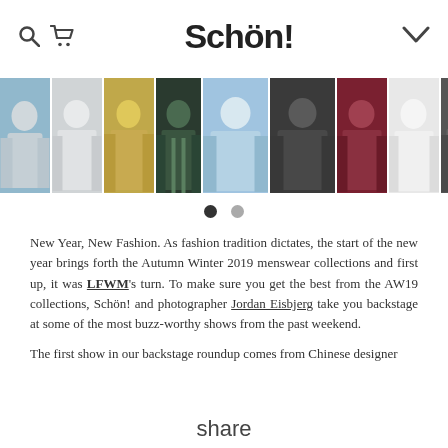Schön!
[Figure (photo): A horizontal strip of fashion photography thumbnails showing models and outfits from menswear runway/backstage shots, AW19 collections.]
New Year, New Fashion. As fashion tradition dictates, the start of the new year brings forth the Autumn Winter 2019 menswear collections and first up, it was LFWM's turn. To make sure you get the best from the AW19 collections, Schön! and photographer Jordan Eisbjerg take you backstage at some of the most buzz-worthy shows from the past weekend.
The first show in our backstage roundup comes from Chinese designer
share